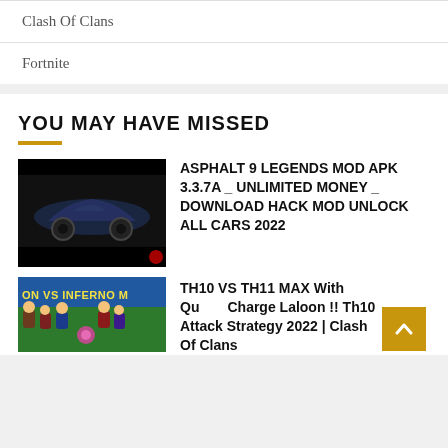Clash Of Clans
Fortnite
YOU MAY HAVE MISSED
[Figure (photo): Bugatti sports car on grey background with black bars top and bottom]
ASPHALT 9 LEGENDS MOD APK 3.3.7A _ UNLIMITED MONEY _ DOWNLOAD HACK MOD UNLOCK ALL CARS 2022
[Figure (screenshot): Game screenshot showing ON VS INFERNO M text with Clash of Clans characters]
TH10 VS TH11 MAX With Queen Charge Laloon !! Th10 Attack Strategy 2022 | Clash Of Clans